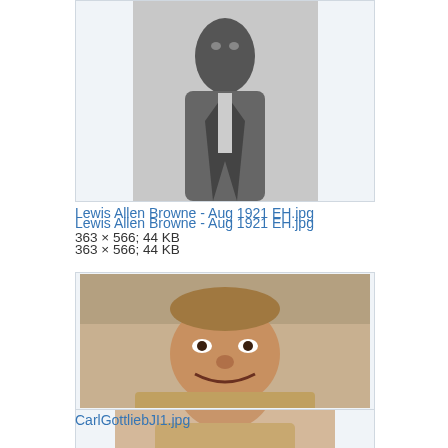[Figure (photo): Black and white photo of a man (Lewis Allen Browne) in a suit, partially visible, cropped at top of page]
Lewis Allen Browne - Aug 1921 EH.jpg
363 × 566; 44 KB
[Figure (photo): Color photo of an older heavyset man (Carl Gottlieb) smiling, with a blurred background]
CarlGottliebJI1.jpg
3,916 × 2,634; 2.15 MB
[Figure (photo): Black and white portrait photo of a person, partially visible at bottom of page]